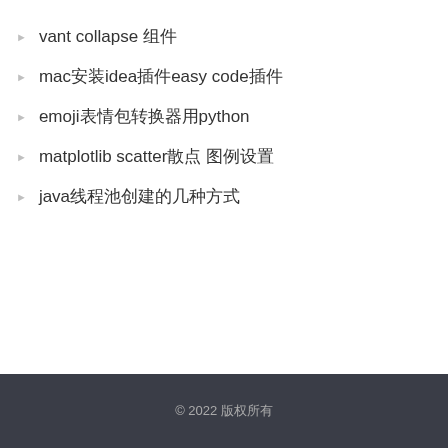vant collapse 组件
mac安装idea插件easy code插件
emoji表情包转换器用python
matplotlib scatter散点 图例设置
java线程池创建的几种方式
© 2022 版权所有